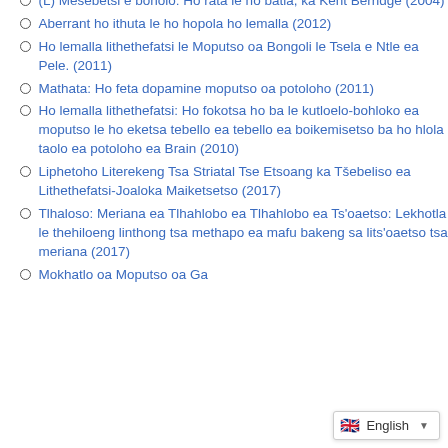(L) Mesebetsi e boholo: Ho rata le ho batla, ka Kent Berridge (2004)
Aberrant ho ithuta le ho hopola ho lemalla (2012)
Ho lemalla lithethefatsi le Moputso oa Bongoli le Tsela e Ntle ea Pele. (2011)
Mathata: Ho feta dopamine moputso oa potoloho (2011)
Ho lemalla lithethefatsi: Ho fokotsa ho ba le kutloelo-bohloko ea moputso le ho eketsa tebello ea tebello ea boikemisetso ba ho hlola taolo ea potoloho ea Brain (2010)
Liphetoho Literekeng Tsa Striatal Tse Etsoang ka Tšebeliso ea Lithethefatsi-Joaloka Maiketsetso (2017)
Tlhaloso: Meriana ea Tlhahlobo ea Tlhahlobo ea Ts'oaetso: Lekhotla le thehiloeng linthong tsa methapo ea mafu bakeng sa lits'oaetso tsa meriana (2017)
Mokhatlo oa Moputso oa Ga[...]: